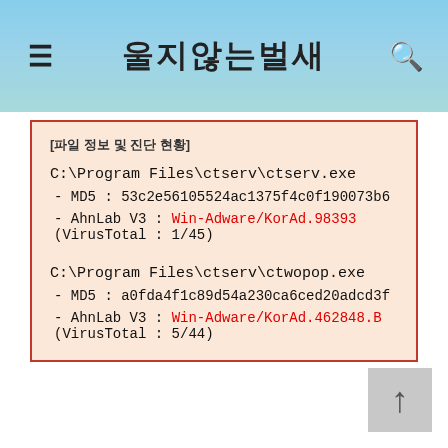울지않는벌새
[파일 정보 및 진단 현황]

C:\Program Files\ctserv\ctserv.exe
 - MD5 : 53c2e56105524ac1375f4c0f190073b6
 - AhnLab V3 : Win-Adware/KorAd.98393 (VirusTotal : 1/45)

C:\Program Files\ctserv\ctwopop.exe
 - MD5 : a0fda4f1c89d54a230ca6ced20adcd3f
 - AhnLab V3 : Win-Adware/KorAd.462848.B (VirusTotal : 5/44)